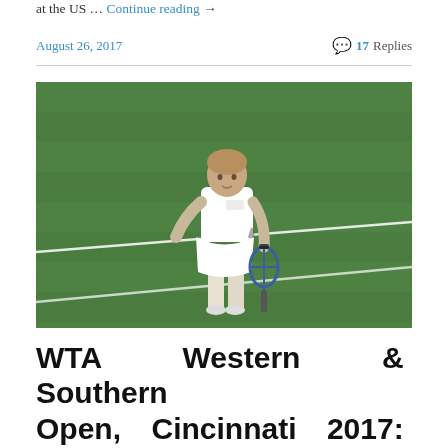at the US … Continue reading →
August 26, 2017   💬 17 Replies
[Figure (photo): A female tennis player in white FILA outfit standing on a grass court holding a racket, looking forward. The background is a green grass tennis court.]
WTA Western & Southern Open, Cincinnati 2017: Main